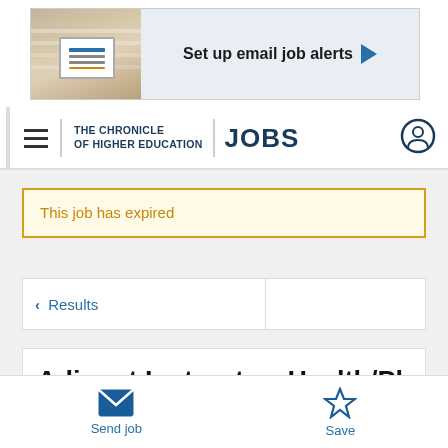[Figure (screenshot): Advertisement banner for email job alerts with photo and arrow button]
THE CHRONICLE OF HIGHER EDUCATION | JOBS
This job has expired
< Results
Adjunct Instructor- Health/Physical
Send job | Save